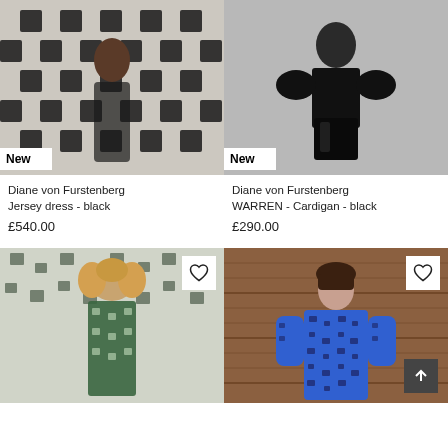[Figure (photo): Model wearing black and white patterned jersey dress with 'New' badge]
[Figure (photo): Model wearing black cardigan top with black leather shorts and 'New' badge]
Diane von Furstenberg
Jersey dress - black
Diane von Furstenberg
WARREN - Cardigan - black
£540.00
£290.00
[Figure (photo): Model with curly hair wearing green and white patterned blouse, with heart/wishlist icon]
[Figure (photo): Model wearing blue and black printed top/dress, with heart/wishlist icon and scroll-to-top button]